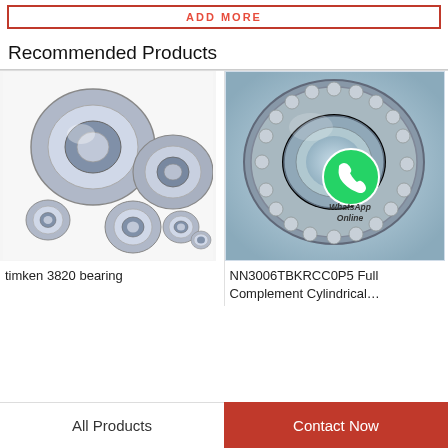Recommended Products
[Figure (photo): Group of metal ball bearings (timken 3820 bearing)]
timken 3820 bearing
[Figure (photo): Single cylindrical roller bearing (NN3006TBKRCC0P5 Full Complement Cylindrical...) with WhatsApp Online badge]
NN3006TBKRCC0P5 Full Complement Cylindrical...
All Products
Contact Now